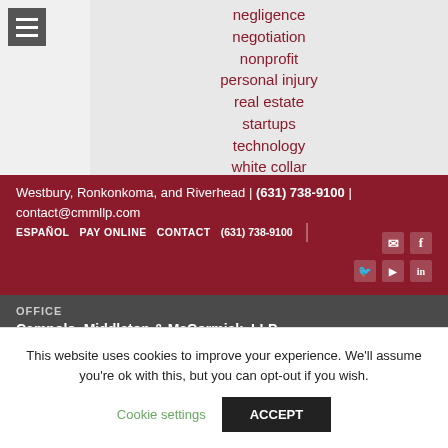negligence
negotiation
nonprofit
personal injury
real estate
startups
technology
white collar
Westbury, Ronkonkoma, and Riverhead | (631) 738-9100 | contact@cmmllp.com
ESPAÑOL  PAY ONLINE  CONTACT  (631) 738-9100
OFFICE
Campolo, Middleton & McCormick, LLP
This website uses cookies to improve your experience. We'll assume you're ok with this, but you can opt-out if you wish.
Cookie settings  ACCEPT